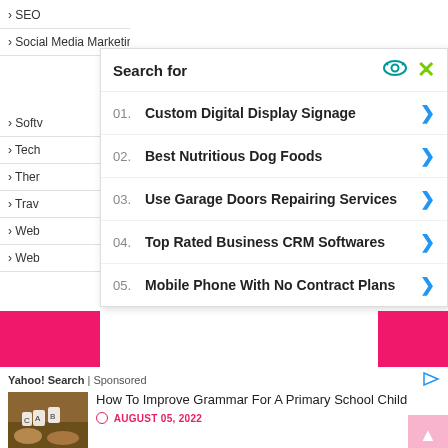› SEO
› Social Media Marketing
› Softw
› Tech
› Ther
› Trav
› Web
› Web
Search for
01.  Custom Digital Display Signage
02.  Best Nutritious Dog Foods
03.  Use Garage Doors Repairing Services
04.  Top Rated Business CRM Softwares
05.  Mobile Phone With No Contract Plans
Yahoo! Search | Sponsored
How To Improve Grammar For A Primary School Child
AUGUST 05, 2022
[Figure (photo): Hands with paper cutout letters on a wooden table]